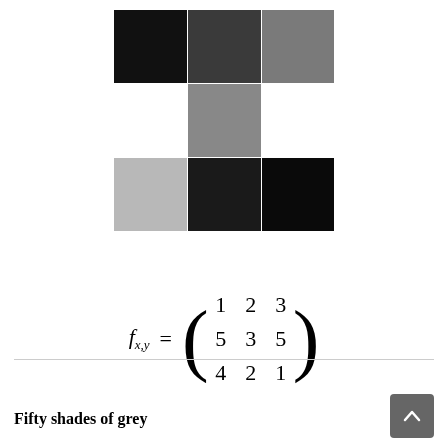[Figure (illustration): A pixel-art style arrangement of grey squares in a cross/plus pattern at different shades from near-black to light grey, showing a 3x2 top block and 3x2 bottom block arranged offset to form a cross shape with varying grey intensities.]
Fifty shades of grey